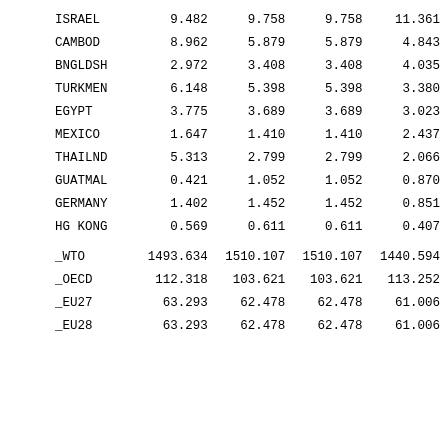| ISRAEL | 9.482 | 9.758 | 9.758 | 11.361 |
| CAMBOD | 8.962 | 5.879 | 5.879 | 4.843 |
| BNGLDSH | 2.972 | 3.408 | 3.408 | 4.035 |
| TURKMEN | 6.148 | 5.398 | 5.398 | 3.380 |
| EGYPT | 3.775 | 3.689 | 3.689 | 3.023 |
| MEXICO | 1.647 | 1.410 | 1.410 | 2.437 |
| THAILND | 5.313 | 2.799 | 2.799 | 2.066 |
| GUATMAL | 0.421 | 1.052 | 1.052 | 0.870 |
| GERMANY | 1.402 | 1.452 | 1.452 | 0.851 |
| HG KONG | 0.569 | 0.611 | 0.611 | 0.407 |
| _WTO | 1493.634 | 1510.107 | 1510.107 | 1440.594 |
| _OECD | 112.318 | 103.621 | 103.621 | 113.252 |
| _EU27 | 63.293 | 62.478 | 62.478 | 61.006 |
| _EU28 | 63.293 | 62.478 | 62.478 | 61.006 |